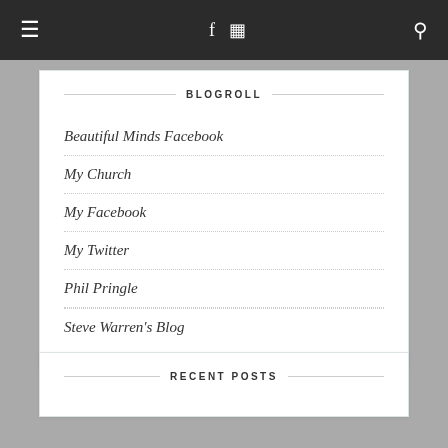Navigation bar with hamburger menu, social icons (Facebook, Instagram), and search icon
BLOGROLL
Beautiful Minds Facebook
My Church
My Facebook
My Twitter
Phil Pringle
Steve Warren's Blog
RECENT POSTS